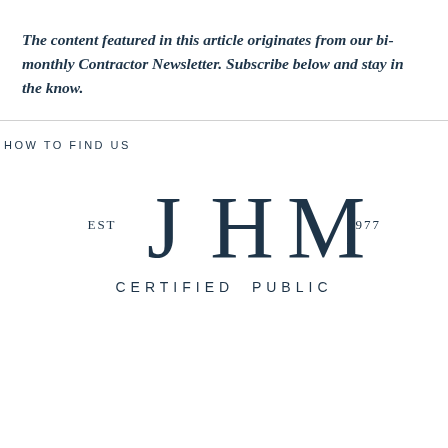The content featured in this article originates from our bi-monthly Contractor Newsletter. Subscribe below and stay in the know.
HOW TO FIND US
[Figure (logo): JHM Certified Public Accountants logo with EST and 1977 text flanking large JHM letters]